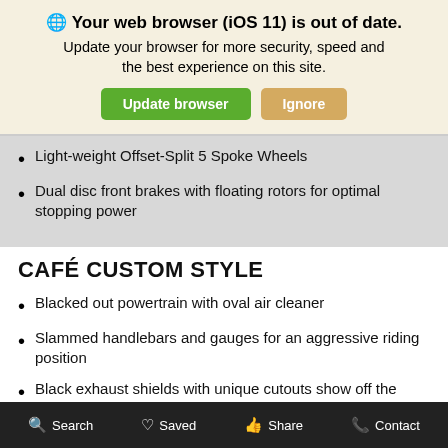🌐 Your web browser (iOS 11) is out of date. Update your browser for more security, speed and the best experience on this site.
Update browser
Ignore
Light-weight Offset-Split 5 Spoke Wheels
Dual disc front brakes with floating rotors for optimal stopping power
CAFÉ CUSTOM STYLE
Blacked out powertrain with oval air cleaner
Slammed handlebars and gauges for an aggressive riding position
Black exhaust shields with unique cutouts show off the chrome mufflers
Search   Saved   Share   Contact